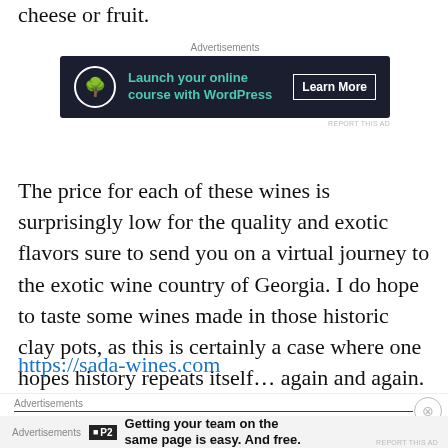cheese or fruit.
[Figure (other): Advertisement banner: dark navy background with tree icon, text 'Launch your online course with WordPress', 'Learn More' button]
The price for each of these wines is surprisingly low for the quality and exotic flavors sure to send you on a virtual journey to the exotic wine country of Georgia. I do hope to taste some wines made in those historic clay pots, as this is certainly a case where one hopes history repeats itself… again and again.
https://sada-wines.com
Advertisements
[Figure (other): Advertisement: P2 logo with text 'Getting your team on the same page is easy. And free.']